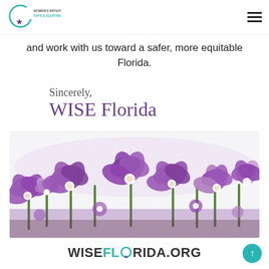Women's Initiative for a Safe & Equitable Florida
and work with us toward a safer, more equitable Florida.
Sincerely,
WISE Florida
[Figure (photo): Photograph of purple/violet bellflowers (campanula) in bloom against a bright background]
WISEFLORIDA.ORG